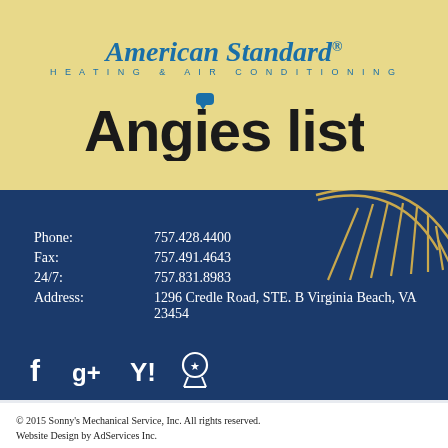[Figure (logo): American Standard Heating & Air Conditioning logo in blue script with tagline]
[Figure (logo): Angie's list logo in black bold sans-serif with blue speech bubble above apostrophe]
[Figure (illustration): Sun illustration in gold outline on dark blue background, top right corner]
Phone: 757.428.4400
Fax: 757.491.4643
24/7: 757.831.8983
Address: 1296 Credle Road, STE. B Virginia Beach, VA 23454
[Figure (infographic): Social media icons: Facebook, Google+, Yahoo, and award/medal icon in white on dark blue]
© 2015 Sonny's Mechanical Service, Inc. All rights reserved.
Website Design by AdServices Inc.